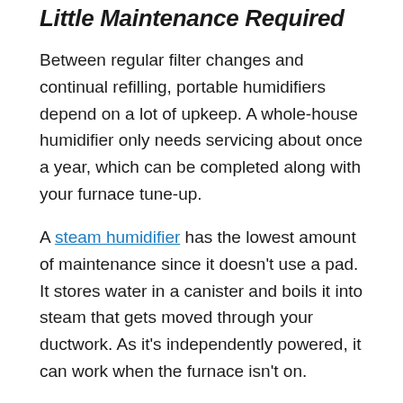Little Maintenance Required
Between regular filter changes and continual refilling, portable humidifiers depend on a lot of upkeep. A whole-house humidifier only needs servicing about once a year, which can be completed along with your furnace tune-up.
A steam humidifier has the lowest amount of maintenance since it doesn’t use a pad. It stores water in a canister and boils it into steam that gets moved through your ductwork. As it’s independently powered, it can work when the furnace isn’t on.
Schedule Your Free Home Comfort Consultation Today